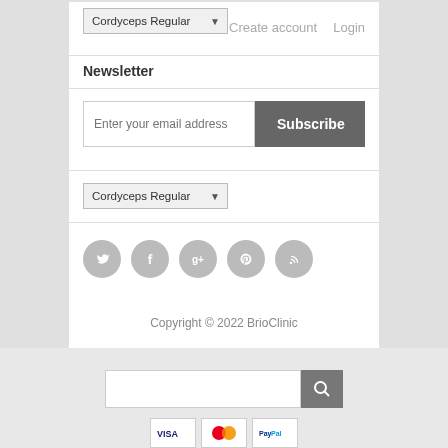[Figure (screenshot): Dropdown selector showing 'Cordyceps Regular' with dropdown arrow]
Create account    Login
Newsletter
[Figure (screenshot): Email input field with placeholder 'Enter your email address' and Subscribe button]
[Figure (screenshot): Dropdown selector showing 'Cordyceps Regular' with dropdown arrow]
[Figure (infographic): Row of 5 social media icons: Twitter, Facebook, Google+, Pinterest, RSS feed — all in grey circles]
Copyright © 2022 BrioClinic
[Figure (screenshot): Search input field with search button (magnifying glass icon)]
[Figure (screenshot): Payment icons: Visa, Mastercard, PayPal]